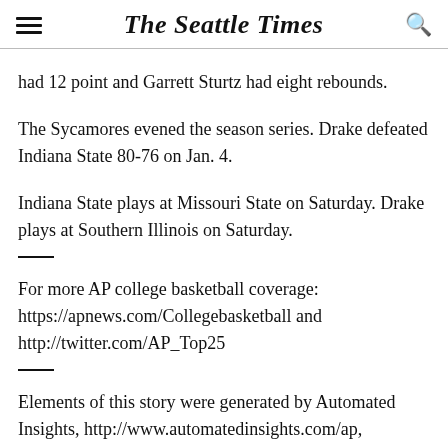The Seattle Times
had 12 point and Garrett Sturtz had eight rebounds.
The Sycamores evened the season series. Drake defeated Indiana State 80-76 on Jan. 4.
Indiana State plays at Missouri State on Saturday. Drake plays at Southern Illinois on Saturday.
For more AP college basketball coverage: https://apnews.com/Collegebasketball and http://twitter.com/AP_Top25
Elements of this story were generated by Automated Insights, http://www.automatedinsights.com/ap,